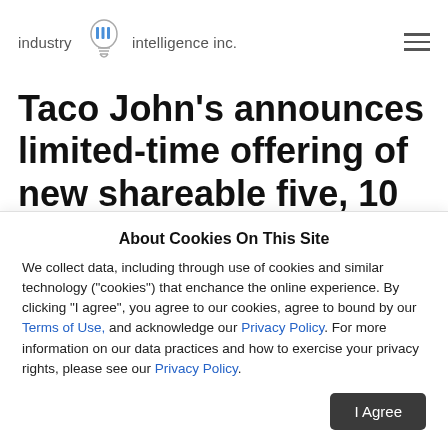industry iii intelligence inc.
Taco John's announces limited-time offering of new shareable five, 10 and 20 packs of Fried Chicken Tenders; the menu items comes with chipotle lime sauce and
About Cookies On This Site
We collect data, including through use of cookies and similar technology ("cookies") that enchance the online experience. By clicking "I agree", you agree to our cookies, agree to bound by our Terms of Use, and acknowledge our Privacy Policy. For more information on our data practices and how to exercise your privacy rights, please see our Privacy Policy.